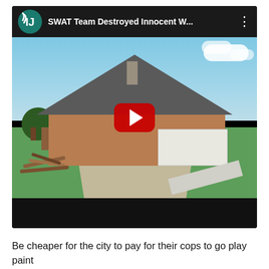[Figure (screenshot): YouTube video embed showing a SWAT team raid aftermath — damaged house with debris (wood planks, garage door panels) on driveway, with a YouTube play button overlay. Video title bar reads 'SWAT Team Destroyed Innocent W...' with the Institute for Justice logo.]
Be cheaper for the city to pay for their cops to go play paint